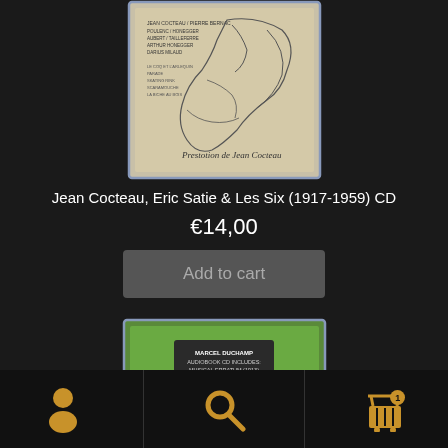[Figure (photo): CD product image for Jean Cocteau, Eric Satie & Les Six (1917-1959) - beige/cream colored CD case with line drawing illustration]
Jean Cocteau, Eric Satie & Les Six (1917-1959) CD
€14,00
Add to cart
[Figure (photo): CD product image for Marcel Duchamp audiobook CD - green colored CD case with text: MARCEL DUCHAMP AUDIOBOOK CD INCLUDES: MUSICAL ERRATUM (1913) 4 LECTURES/INTERVIEWS]